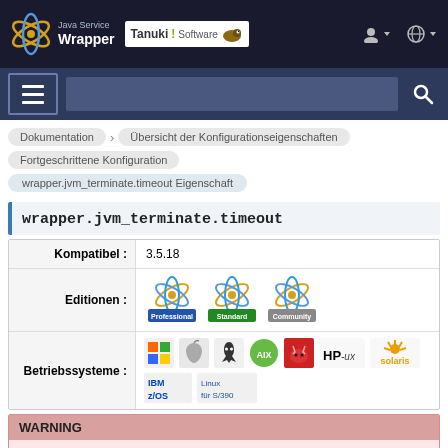[Figure (screenshot): Java Service Wrapper and Tanuki Software logo in dark navigation bar]
[Figure (screenshot): Navigation bar with hamburger menu and search bar]
Dokumentation › Übersicht der Konfigurationseigenschaften
Fortgeschrittene Konfiguration
wrapper.jvm_terminate.timeout Eigenschaft
wrapper.jvm_terminate.timeout
|  |  |
| --- | --- |
| Kompatibel : | 3.5.18 |
| Editionen : | [Professional] [Standard] [Community] |
| Betriebssysteme : | [Windows][macOS][Linux][AIX][FreeBSD][HP-UX][Solaris][IBM z/OS][Linux for S/390] |
WARNING
DO NOT modify any of these parameters unless you have read this property description. Incorrect settings can cause the Wrapper to fail to operate as expected.